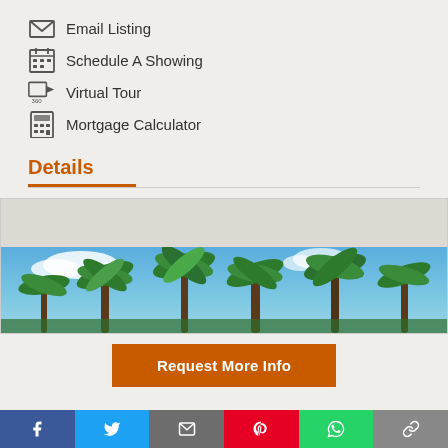Email Listing
Schedule A Showing
Virtual Tour
Mortgage Calculator
Details
[Figure (photo): Panoramic photo of palm trees against a blue sky with white clouds]
Request More Info
Social share bar: Facebook, Twitter, Email, Pinterest, WhatsApp, Link